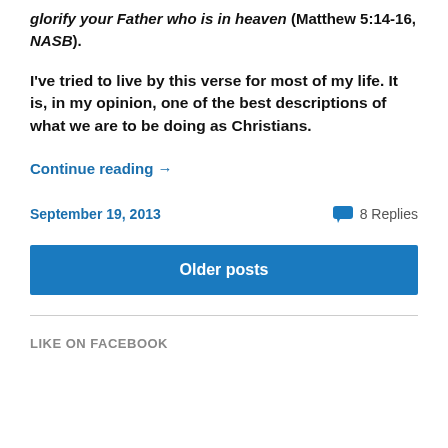glorify your Father who is in heaven (Matthew 5:14-16, NASB).
I've tried to live by this verse for most of my life. It is, in my opinion, one of the best descriptions of what we are to be doing as Christians.
Continue reading →
September 19, 2013
8 Replies
Older posts
LIKE ON FACEBOOK